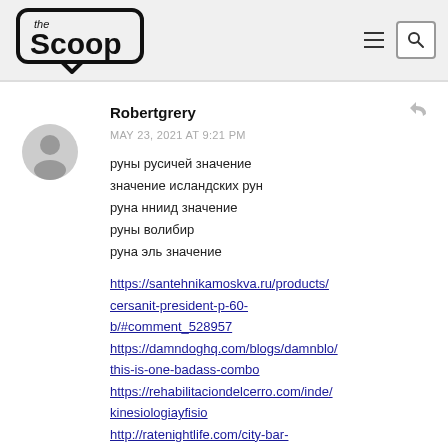the Scoop [logo]
Robertgrery
MAY 23, 2021 AT 9:21 PM
руны русичей значение
значение исландских рун
руна нниид значение
руны волибир
руна эль значение
https://santehnikamoskva.ru/products/cersanit-president-p-60-b/#comment_528957
https://damndoghq.com/blogs/damnblo/this-is-one-badass-combo
https://rehabilitaciondelcerro.com/inde/kinesiologiayfisio
http://ratenightlife.com/city-bar-blog/?